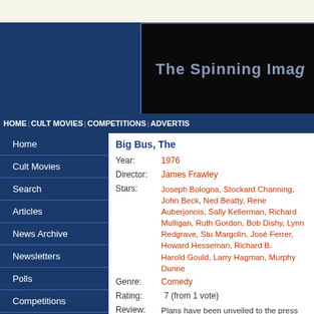The Spinning Image
HOME | CULT MOVIES | COMPETITIONS | ADVERTISE
Home
Cult Movies
Search
Articles
News Archive
Newsletters
Polls
Competitions
Links
Advertise
Big Bus, The
Year: 1976
Director: James Frawley
Stars: Joseph Bologna, Stockard Channing, John Beck, Ned Beatty, Rene Auberjonois, Sally Kellerman, Richard Mulligan, Ruth Gordon, Bob Dishy, Lynn Redgrave, Stuart Margolin, José Ferrer, Howard Hesseman, Richard B. Shull, Harold Gould, Larry Hagman, Murphy Dunne
Genre: Comedy
Rating: 7 (from 1 vote)
Review: Plans have been unveiled to the press for the journey of the world's first nuclear powered bus. It will travel from New York to Denver non-stop, but even before departure, there are problems. The oil industry, concerned about loss of earnings, have...